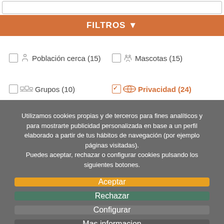FILTROS
Población cerca (15)
Mascotas (15)
Grupos (10)
Privacidad (24)
Utilizamos cookies propias y de terceros para fines analíticos y para mostrarte publicidad personalizada en base a un perfil elaborado a partir de tus hábitos de navegación (por ejemplo páginas visitadas). Puedes aceptar, rechazar o configurar cookies pulsando los siguientes botones.
Aceptar
Rechazar
Configurar
Mas informacion